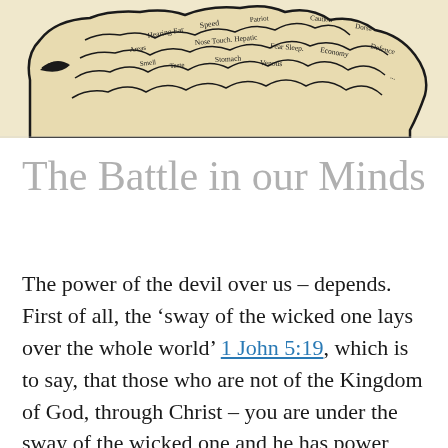[Figure (illustration): A vintage black-and-white anatomical illustration of a human head/brain profile with various labels such as Speed, Hearing Ear, Areas, Nose, Touch, Hepatic, Smell, Taste, Stomach, Venous, Patriot, Caution, Fear, Sleep, Dorsa, Economy, Defence, and others written in cursive style within brain regions.]
The Battle in our Minds
The power of the devil over us – depends.  First of all, the 'sway of the wicked one lays over the whole world' 1 John 5:19, which is to say, that those who are not of the Kingdom of God, through Christ – you are under the sway of the wicked one and he has power over you.  You are fair game according the rulers and principalities